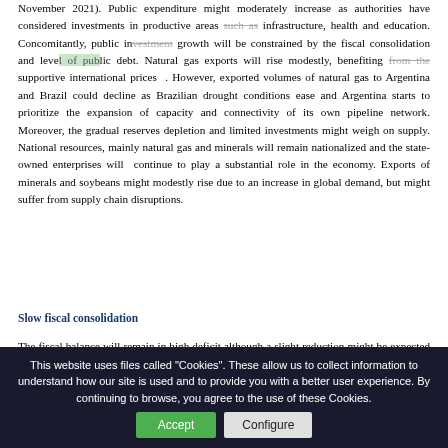November 2021). Public expenditure might moderately increase as authorities have considered investments in productive areas such as infrastructure, health and education. Concomitantly, public investment growth will be constrained by the fiscal consolidation and level of public debt. Natural gas exports will rise modestly, benefiting from the supportive international prices . However, exported volumes of natural gas to Argentina and Brazil could decline as Brazilian drought conditions ease and Argentina starts to prioritize the expansion of capacity and connectivity of its own pipeline network. Moreover, the gradual reserves depletion and limited investments might weigh on supply. National resources, mainly natural gas and minerals will remain nationalized and the state-owned enterprises will continue to play a substantial role in the economy. Exports of minerals and soybeans might modestly rise due to an increase in global demand, but might suffer from supply chain disruptions.
Slow fiscal consolidation
The fiscal balance will remain in high deficit although a slight reduction might be expected in 2022, as the government tends to consider fiscal consolidation. Public revenues should slightly increase on the continuing economic recovery and receipts from the direct tax on hydrocarbons (15% of total revenues). Moreover, the wealth tax